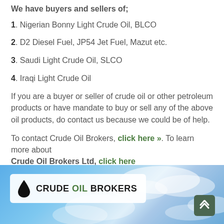We have buyers and sellers of;
1. Nigerian Bonny Light Crude Oil, BLCO
2. D2 Diesel Fuel, JP54 Jet Fuel, Mazut etc.
3. Saudi Light Crude Oil, SLCO
4. Iraqi Light Crude Oil
If you are a buyer or seller of crude oil or other petroleum products or have mandate to buy or sell any of the above oil products, do contact us because we could be of help.
To contact Crude Oil Brokers, click here ». To learn more about Crude Oil Brokers Ltd, click here
[Figure (logo): Crude Oil Brokers banner with logo — oil drop icon and company name on a sky/clouds background, with a scroll-to-top button in the bottom right]